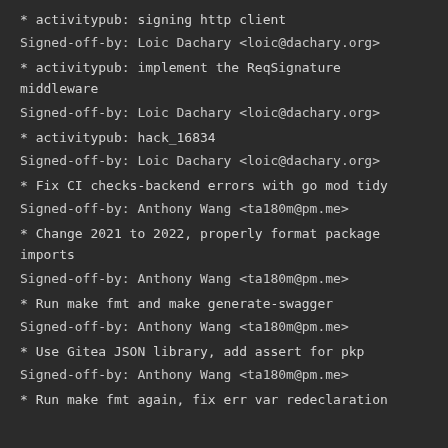* activitypub: signing http client
Signed-off-by: Loic Dachary <loic@dachary.org>
* activitypub: implement the ReqSignature middleware
Signed-off-by: Loic Dachary <loic@dachary.org>
* activitypub: hack_16834
Signed-off-by: Loic Dachary <loic@dachary.org>
* Fix CI checks-backend errors with go mod tidy
Signed-off-by: Anthony Wang <ta180m@pm.me>
* Change 2021 to 2022, properly format package imports
Signed-off-by: Anthony Wang <ta180m@pm.me>
* Run make fmt and make generate-swagger
Signed-off-by: Anthony Wang <ta180m@pm.me>
* Use Gitea JSON library, add assert for pkp
Signed-off-by: Anthony Wang <ta180m@pm.me>
* Run make fmt again, fix err var redeclaration